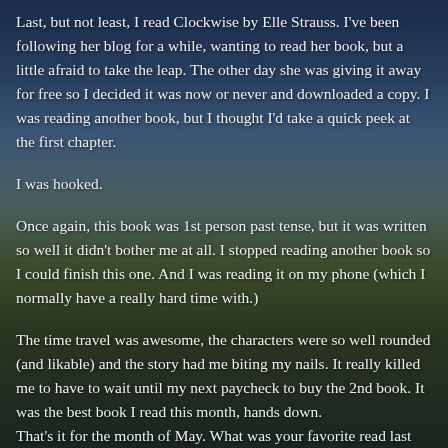Last, but not least, I read Clockwise by Elle Strauss. I've been following her blog for a while, wanting to read her book, but a little afraid to take the leap. The other day she was giving it away for free so I decided it was now or never and downloaded a copy. I was reading another book, but I thought I'd take a quick peek at the first chapter.
I was hooked.
Once again, this book was 1st person past tense, but it was written so well it didn't bother me at all. I stopped reading another book so I could finish this one. And I was reading it on my phone (which I normally have a really hard time with.)
The time travel was awesome, the characters were so well rounded (and likable) and the story had me biting my nails. It really killed me to have to wait until my next paycheck to buy the 2nd book. It was the best book I read this month, hands down.
That's it for the month of May. What was your favorite read last